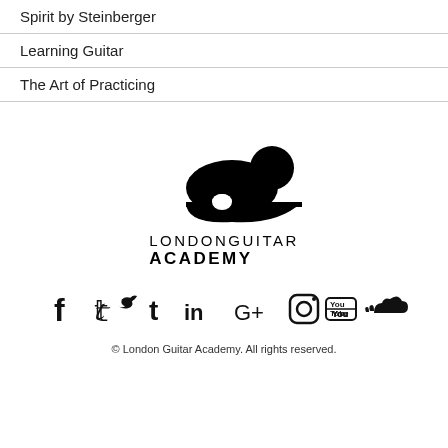Spirit by Steinberger
Learning Guitar
The Art of Practicing
[Figure (logo): London Guitar Academy logo with guitar silhouette and text LONDONGUITAR ACADEMY]
[Figure (infographic): Social media icons: Facebook, Twitter, Tumblr, LinkedIn, Google+, Instagram, YouTube, SoundCloud]
© London Guitar Academy. All rights reserved.